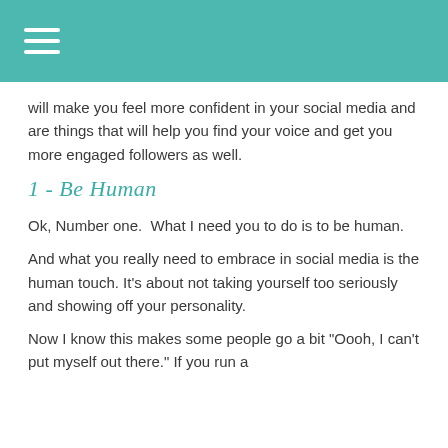will make you feel more confident in your social media and are things that will help you find your voice and get you more engaged followers as well.
1 - Be Human
Ok, Number one.  What I need you to do is to be human.
And what you really need to embrace in social media is the human touch. It's about not taking yourself too seriously and showing off your personality.
Now I know this makes some people go a bit "Oooh, I can't put myself out there." If you run a business, you need to accept that the i...